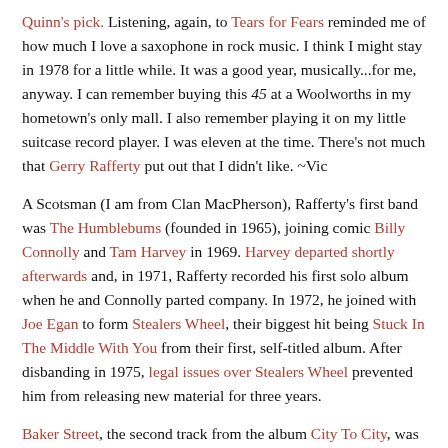Quinn's pick. Listening, again, to Tears for Fears reminded me of how much I love a saxophone in rock music. I think I might stay in 1978 for a little while. It was a good year, musically...for me, anyway. I can remember buying this 45 at a Woolworths in my hometown's only mall. I also remember playing it on my little suitcase record player. I was eleven at the time. There's not much that Gerry Rafferty put out that I didn't like. ~Vic
A Scotsman (I am from Clan MacPherson), Rafferty's first band was The Humblebums (founded in 1965), joining comic Billy Connolly and Tam Harvey in 1969. Harvey departed shortly afterwards and, in 1971, Rafferty recorded his first solo album when he and Connolly parted company. In 1972, he joined with Joe Egan to form Stealers Wheel, their biggest hit being Stuck In The Middle With You from their first, self-titled album. After disbanding in 1975, legal issues over Stealers Wheel prevented him from releasing new material for three years.
Baker Street, the second track from the album City To City, was released February 3, 1978 or, possibly, January 20, 1978, depending and entered the Billboard Hot 100 chart the week of April 22, 1978...